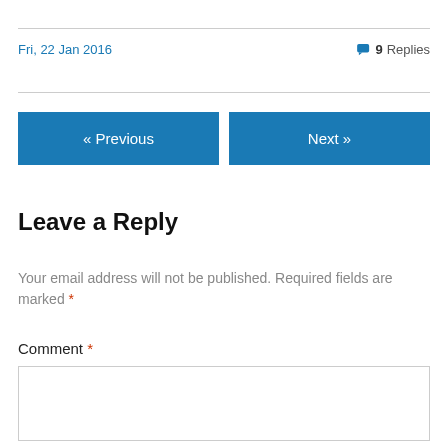Fri, 22 Jan 2016
💬 9 Replies
« Previous
Next »
Leave a Reply
Your email address will not be published. Required fields are marked *
Comment *